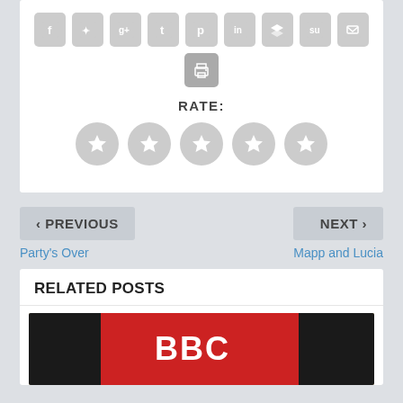[Figure (screenshot): Social media sharing icons row: Facebook, Twitter, Google+, Tumblr, Pinterest, LinkedIn, Buffer, StumbleUpon, Email; and a print icon below]
RATE:
[Figure (other): Five grey star rating circles]
< PREVIOUS
NEXT >
Party's Over
Mapp and Lucia
RELATED POSTS
[Figure (photo): BBC logo on a red and black background, partial image at bottom of page]